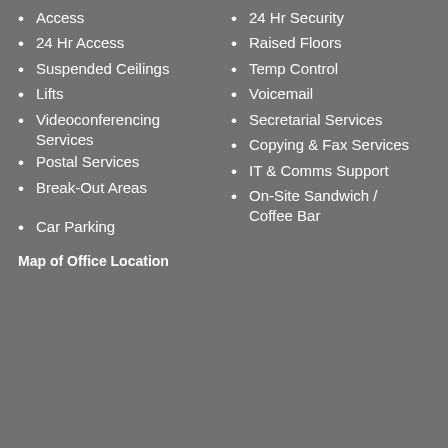Access
24 Hr Security
24 Hr Access
Raised Floors
Suspended Ceilings
Temp Control
Lifts
Voicemail
Videoconferencing Services
Secretarial Services
Postal Services
Copying & Fax Services
Break-Out Areas
IT & Comms Support
On-Site Sandwich / Coffee Bar
Car Parking
Map of Office Location